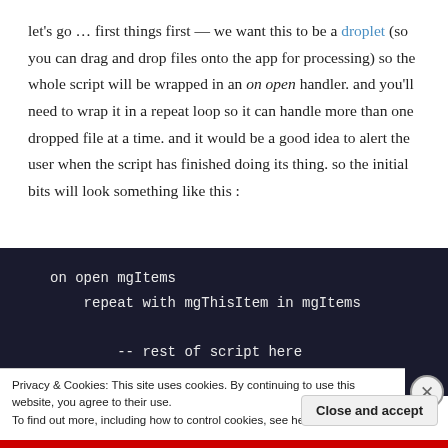let's go … first things first — we want this to be a droplet (so you can drag and drop files onto the app for processing) so the whole script will be wrapped in an on open handler. and you'll need to wrap it in a repeat loop so it can handle more than one dropped file at a time. and it would be a good idea to alert the user when the script has finished doing its thing. so the initial bits will look something like this :
[Figure (screenshot): Dark navy code block showing AppleScript: on open mgItems, repeat with mgThisItem in mgItems, -- rest of script here, end repeat]
Privacy & Cookies: This site uses cookies. By continuing to use this website, you agree to their use.
To find out more, including how to control cookies, see here: Cookie Policy